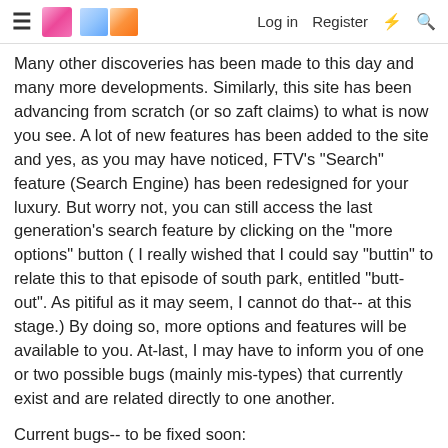≡ [avatar] [avatar icons] Log in  Register ⚡ 🔍
Many other discoveries has been made to this day and many more developments. Similarly, this site has been advancing from scratch (or so zaft claims) to what is now you see. A lot of new features has been added to the site and yes, as you may have noticed, FTV's "Search" feature (Search Engine) has been redesigned for your luxury. But worry not, you can still access the last generation's search feature by clicking on the "more options" button ( I really wished that I could say "buttin" to relate this to that episode of south park, entitled "butt-out". As pitiful as it may seem, I cannot do that-- at this stage.) By doing so, more options and features will be available to you. At-last, I may have to inform you of one or two possible bugs (mainly mis-types) that currently exist and are related directly to one another.
Current bugs-- to be fixed soon:
1-'Show results as posts' feature is doing what 'Show results as topics' feature is supposed to do and vice versa.
If you have found any other bug, please inform any of the moderating team.